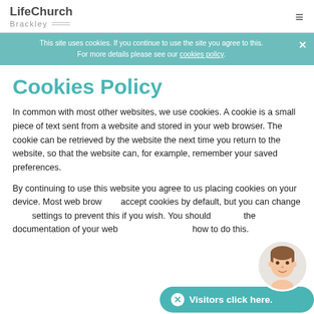LifeChurch Brackley
This site uses cookies. If you continue to use the site you agree to this. For more details please see our cookies policy.
Cookies Policy
In common with most other websites, we use cookies. A cookie is a small piece of text sent from a website and stored in your web browser. The cookie can be retrieved by the website the next time you return to the website, so that the website can, for example, remember your saved preferences.
By continuing to use this website you agree to us placing cookies on your device. Most web browsers accept cookies by default, but you can change your settings to prevent this if you wish. You should refer to the documentation of your web browser to find out how to do this.
[Figure (illustration): Chat widget with cartoon avatar and teal bubble saying 'Visitors click here.']